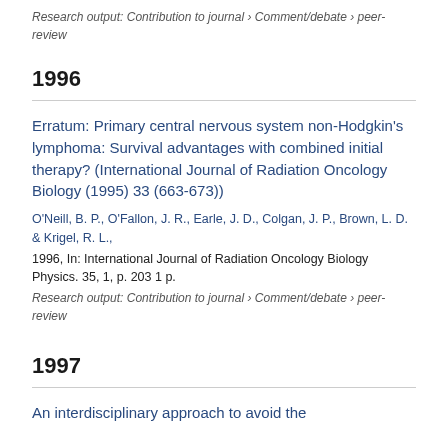Research output: Contribution to journal › Comment/debate › peer-review
1996
Erratum: Primary central nervous system non-Hodgkin's lymphoma: Survival advantages with combined initial therapy? (International Journal of Radiation Oncology Biology (1995) 33 (663-673))
O'Neill, B. P., O'Fallon, J. R., Earle, J. D., Colgan, J. P., Brown, L. D. & Krigel, R. L., 1996, In: International Journal of Radiation Oncology Biology Physics. 35, 1, p. 203 1 p.
Research output: Contribution to journal › Comment/debate › peer-review
1997
An interdisciplinary approach to avoid the